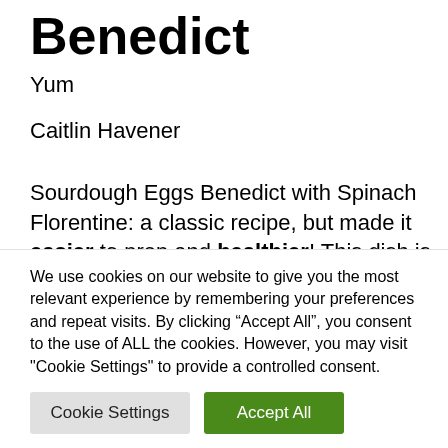Benedict
Yum
Caitlin Havener
Sourdough Eggs Benedict with Spinach Florentine: a classic recipe, but made it easier to prep and healthier! This dish is not only packed with proteins and
We use cookies on our website to give you the most relevant experience by remembering your preferences and repeat visits. By clicking “Accept All”, you consent to the use of ALL the cookies. However, you may visit "Cookie Settings" to provide a controlled consent.